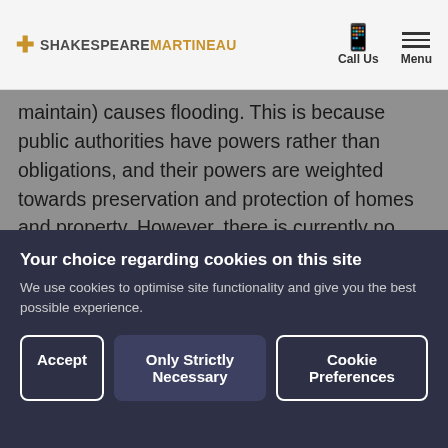SHAKESPEAREMARTINEAU — Call Us | Menu
maintain) causes flooding.  This is because public authorities have powers rather than obligations, and their powers are weighted towards preservation and protection of homes and property.  However, there is currently no clear legal position surrounding when authorities are the owner of a watercourse and may be considered to have riparian duties.

It is possible for public authorities to be found liable for flooding and more recent cases suggest
Your choice regarding cookies on this site
We use cookies to optimise site functionality and give you the best possible experience.
Accept | Only Strictly Necessary | Cookie Preferences